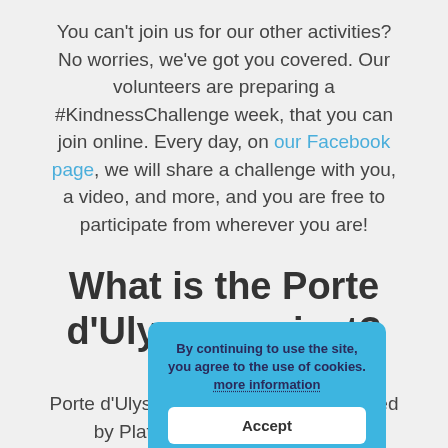You can't join us for our other activities? No worries, we've got you covered. Our volunteers are preparing a #KindnessChallenge week, that you can join online. Every day, on our Facebook page, we will share a challenge with you, a video, and more, and you are free to participate from wherever you are!
What is the Porte d'Ulysse project?
By continuing to use the site, you agree to the use of cookies. more information
Accept
Porte d'Ulysse ... nt center managed by Plateforme Citoyenne. They will ...